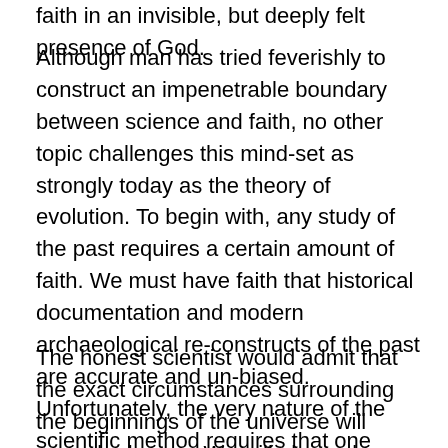faith in an invisible, but deeply felt presence of God.
Although man has tried feverishly to construct an impenetrable boundary between science and faith, no other topic challenges this mind-set as strongly today as the theory of evolution. To begin with, any study of the past requires a certain amount of faith. We must have faith that historical documentation and modern archaeological re-constructs of the past are accurate and un-biased. Unfortunately, the very nature of the scientific method requires that one begin with a biased assumption of truth (a hypothesis), which is either proved or disproved through experimentation.
The honest scientist would admit that the exact circumstances surrounding the beginnings of the universe will never be known. We will always be required to make major assumptions about the past in order to test any